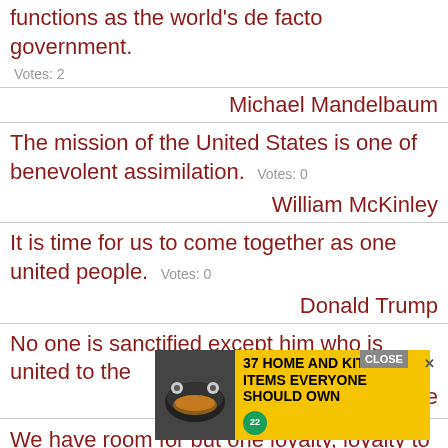functions as the world's de facto government.
Votes: 2
Michael Mandelbaum
The mission of the United States is one of benevolent assimilation.  Votes: 0
William McKinley
It is time for us to come together as one united people.  Votes: 0
Donald Trump
No one is sanctified except him who is united to the
[Figure (screenshot): Advertisement overlay: '37 HOME AND KITCHEN ITEMS EVERYONE SHOULD OWN' on yellow background with food image and green badge showing '22'. Close button visible.]
Prosper of Aquitaine
We have room for but one loyalty, loyalty to the